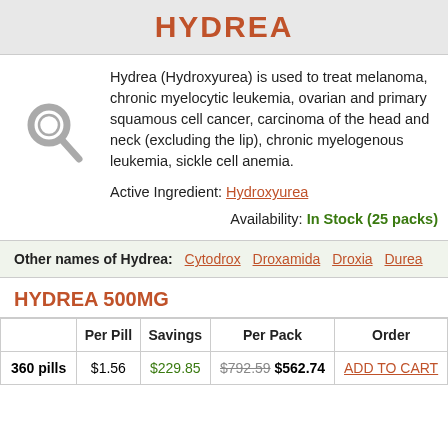HYDREA
Hydrea (Hydroxyurea) is used to treat melanoma, chronic myelocytic leukemia, ovarian and primary squamous cell cancer, carcinoma of the head and neck (excluding the lip), chronic myelogenous leukemia, sickle cell anemia.
Active Ingredient: Hydroxyurea
Availability: In Stock (25 packs)
Other names of Hydrea: Cytodrox  Droxamida  Droxia  Durea
HYDREA 500MG
|  | Per Pill | Savings | Per Pack | Order |
| --- | --- | --- | --- | --- |
| 360 pills | $1.56 | $229.85 | $792.59 $562.74 | ADD TO CART |